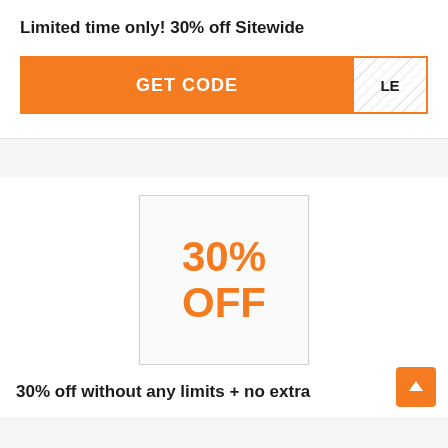Limited time only! 30% off Sitewide
[Figure (other): Orange GET CODE button with striped code reveal area labeled 'LE']
[Figure (other): White box with orange bold text '30% OFF']
30% off without any limits + no extra